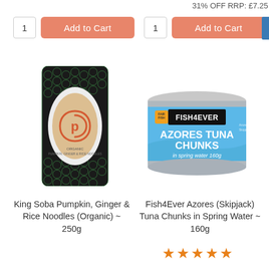31% OFF RRP: £7.25
[Figure (screenshot): Quantity box showing '1' and orange 'Add to Cart' button (left column)]
[Figure (screenshot): Quantity box showing '1' and orange 'Add to Cart' button (right column)]
[Figure (photo): King Soba Pumpkin, Ginger & Rice Noodles (Organic) ~ 250g package with green floral pattern and 'p' logo]
[Figure (photo): Fish4Ever Azores Tuna Chunks in Spring Water ~ 160g can, blue label]
King Soba Pumpkin, Ginger & Rice Noodles (Organic) ~ 250g
Fish4Ever Azores (Skipjack) Tuna Chunks in Spring Water ~ 160g
[Figure (other): 5 orange star rating icons]